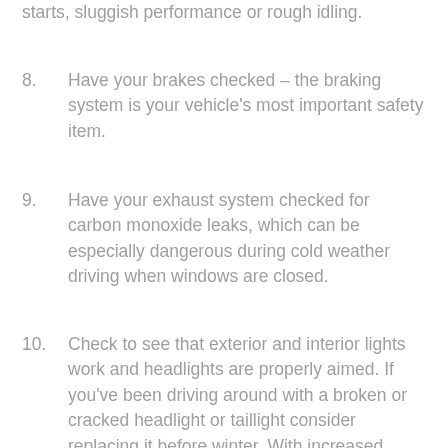starts, sluggish performance or rough idling.
8.   Have your brakes checked – the braking system is your vehicle's most important safety item.
9.   Have your exhaust system checked for carbon monoxide leaks, which can be especially dangerous during cold weather driving when windows are closed.
10.   Check to see that exterior and interior lights work and headlights are properly aimed. If you've been driving around with a broken or cracked headlight or taillight consider replacing it before winter. With increased driving in the dark during the winter months it's a good idea to have all your lights fully functional. If you need a replacement, go used!